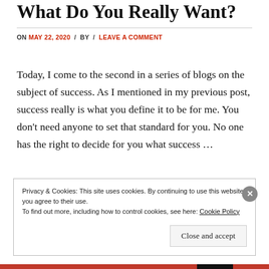What Do You Really Want?
ON MAY 22, 2020 / BY / LEAVE A COMMENT
Today, I come to the second in a series of blogs on the subject of success. As I mentioned in my previous post, success really is what you define it to be for me. You don't need anyone to set that standard for you. No one has the right to decide for you what success …
Privacy & Cookies: This site uses cookies. By continuing to use this website, you agree to their use. To find out more, including how to control cookies, see here: Cookie Policy
Close and accept